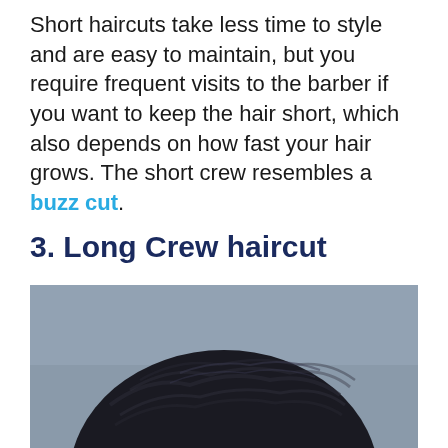Short haircuts take less time to style and are easy to maintain, but you require frequent visits to the barber if you want to keep the hair short, which also depends on how fast your hair grows. The short crew resembles a buzz cut.
3. Long Crew haircut
[Figure (photo): Close-up photo of the top/back of a man's head showing dark, textured crew cut hair against a gray background.]